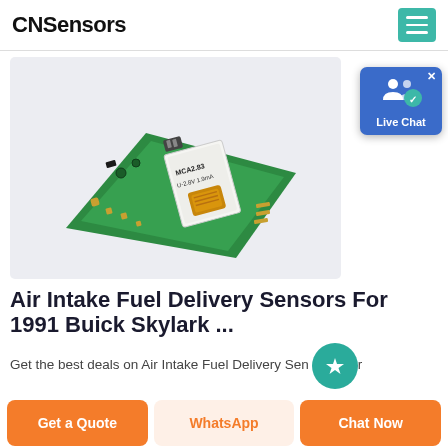CNSensors
[Figure (photo): A green circuit board PCB with an electrochemical gas sensor module mounted on top, labeled MCA2.83 U-2.8V 1.9mA, photographed on a light gray background]
[Figure (screenshot): Live Chat widget button with blue background, showing two user silhouette icons and a chat bubble icon with a checkmark, labeled Live Chat]
Air Intake Fuel Delivery Sensors For 1991 Buick Skylark ...
Get the best deals on Air Intake Fuel Delivery Sensors For
Get a Quote
WhatsApp
Chat Now